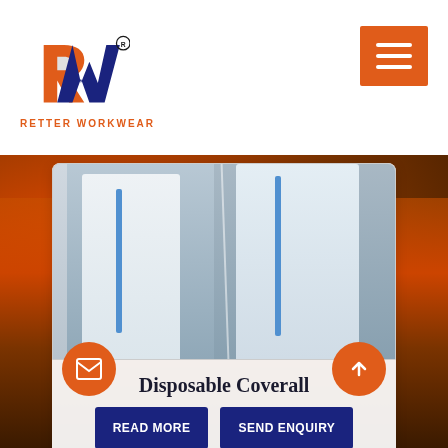[Figure (logo): Retter Workwear logo with RW letters in blue, red, and orange with registered trademark symbol]
RETTER WORKWEAR
[Figure (photo): Two people wearing white disposable coveralls with blue seams/tape, standing indoors, split into two panels]
Disposable Coverall
READ MORE
SEND ENQUIRY
[Figure (photo): Background image of firefighter in protective gear with flames/fire in background]
[Figure (other): Floating email button (orange circle with envelope icon) and back-to-top button (orange circle with up arrow)]